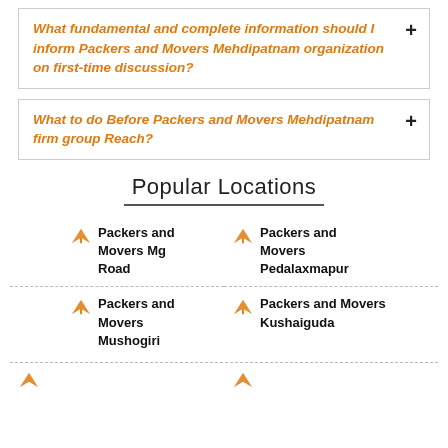What fundamental and complete information should I inform Packers and Movers Mehdipatnam organization on first-time discussion?
What to do Before Packers and Movers Mehdipatnam firm group Reach?
Popular Locations
Packers and Movers Mg Road
Packers and Movers Pedalaxmapur
Packers and Movers Mushogiri
Packers and Movers Kushaiguda